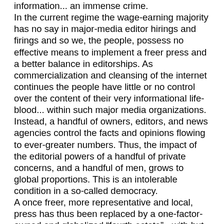information... an immense crime. In the current regime the wage-earning majority has no say in major-media editor hirings and firings and so we, the people, possess no effective means to implement a freer press and a better balance in editorships. As commercialization and cleansing of the internet continues the people have little or no control over the content of their very informational life-blood... within such major media organizations. Instead, a handful of owners, editors, and news agencies control the facts and opinions flowing to ever-greater numbers. Thus, the impact of the editorial powers of a handful of private concerns, and a handful of men, grows to global proportions. This is an intolerable condition in a so-called democracy. A once freer, more representative and local, press has thus been replaced by a one-factor-owned and globalized "fourth estate" - with but one ideology and infallible agenda. But whose information is it?